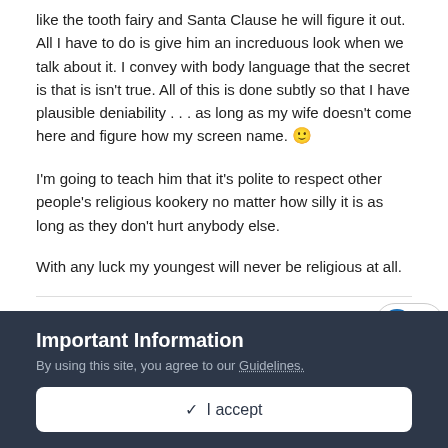like the tooth fairy and Santa Clause he will figure it out. All I have to do is give him an increduous look when we talk about it. I convey with body language that the secret is that is isn't true. All of this is done subtly so that I have plausible deniability . . . as long as my wife doesn't come here and figure how my screen name. 🙂
I'm going to teach him that it's polite to respect other people's religious kookery no matter how silly it is as long as they don't hurt anybody else.
With any luck my youngest will never be religious at all.
[Figure (other): Like button pill showing a blue heart icon and the number 2]
Important Information
By using this site, you agree to our Guidelines.
✓ I accept